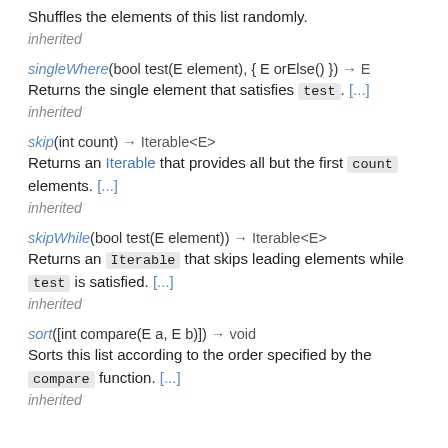Shuffles the elements of this list randomly.
inherited
singleWhere(bool test(E element), { E orElse() }) → E
Returns the single element that satisfies test. [...]
inherited
skip(int count) → Iterable<E>
Returns an Iterable that provides all but the first count elements. [...]
inherited
skipWhile(bool test(E element)) → Iterable<E>
Returns an Iterable that skips leading elements while test is satisfied. [...]
inherited
sort([int compare(E a, E b)]) → void
Sorts this list according to the order specified by the compare function. [...]
inherited